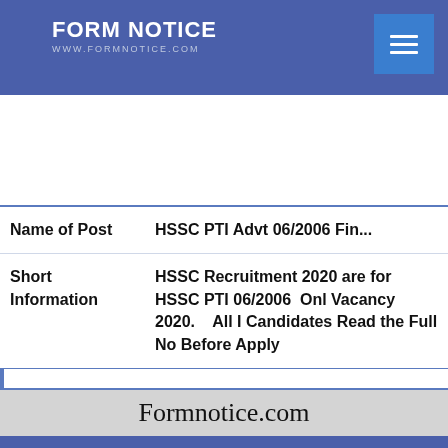FORM NOTICE / WWW.FORMNOTICE.COM
| Field | Value |
| --- | --- |
| Name of Post | HSSC PTI Advt 06/2006 Fin... |
| Short Information | HSSC Recruitment 2020 are for HSSC PTI 06/2006 Onl Vacancy 2020. All Candidates Read the Full No Before Apply |
Formnotice.com
Haryana Staff Selection Co...